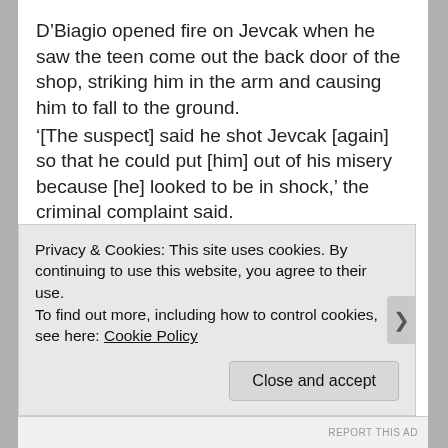D'Biagio opened fire on Jevcak when he saw the teen come out the back door of the shop, striking him in the arm and causing him to fall to the ground.
'[The suspect] said he shot Jevcak [again] so that he could put [him] out of his misery because [he] looked to be in shock,' the criminal complaint said.
A neighbor who witnessed the shooting called 911 as pizza shop owner Joseph Camerot and another employee ran outside and talked to D'Biagio.
New Castle Police Department officers arrived on the scene and found Jevcak bleeding on the ground, unconscious and not moving.
Privacy & Cookies: This site uses cookies. By continuing to use this website, you agree to their use.
To find out more, including how to control cookies, see here: Cookie Policy